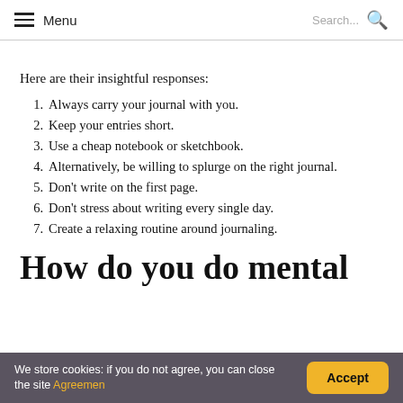Menu  Search...
Here are their insightful responses:
1. Always carry your journal with you.
2. Keep your entries short.
3. Use a cheap notebook or sketchbook.
4. Alternatively, be willing to splurge on the right journal.
5. Don't write on the first page.
6. Don't stress about writing every single day.
7. Create a relaxing routine around journaling.
How do you do mental
We store cookies: if you do not agree, you can close the site Agreemen  Accept